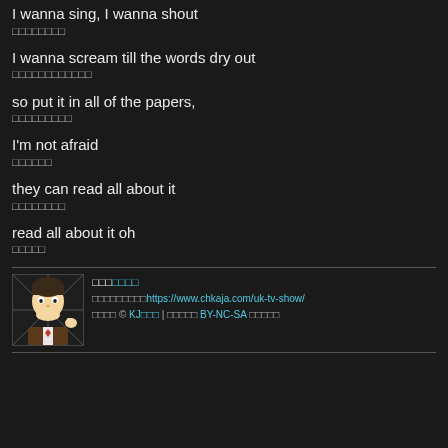I wanna sing, I wanna shout
□□□□□□□□
I wanna scream till the words dry out
□□□□□□□□□□□□
so put it in all of the papers,
□□□□□□□□□
I'm not afraid
□□□□□□
they can read all about it
□□□□□□□□
read all about it oh
□□□□□
□□□□□□□□ | https://www.chkaja.com/uk-tv-show/ | □□□□ © KJ□□□ | □□□□□ BY-NC-SA □□□□□